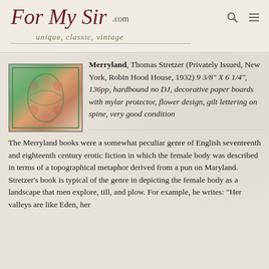For My Sir .com — unique, classic, vintage
[Figure (photo): Small photo of a book with decorative floral paper boards cover, green and pink flower design with gilt lettering]
Merryland, Thomas Stretzer (Privately Issued, New York, Robin Hood House, 1932) 9 3/8" X 6 1/4", 136pp, hardbound no DJ, decorative paper boards with mylar protector, flower design, gilt lettering on spine, very good condition The Merryland books were a somewhat peculiar genre of English seventeenth and eighteenth century erotic fiction in which the female body was described in terms of a topographical metaphor derived from a pun on Maryland. Stretzer's book is typical of the genre in depicting the female body as a landscape that men explore, till, and plow. For example, he writes: "Her valleys are like Eden, her